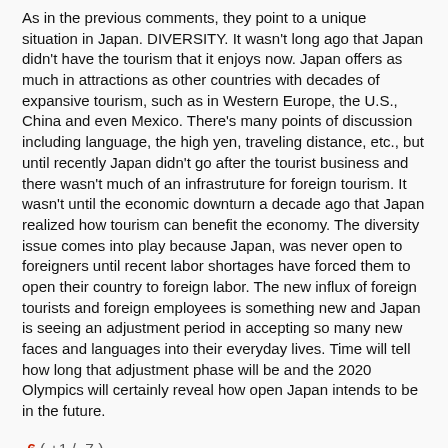As in the previous comments, they point to a unique situation in Japan. DIVERSITY. It wasn't long ago that Japan didn't have the tourism that it enjoys now. Japan offers as much in attractions as other countries with decades of expansive tourism, such as in Western Europe, the U.S., China and even Mexico. There's many points of discussion including language, the high yen, traveling distance, etc., but until recently Japan didn't go after the tourist business and there wasn't much of an infrastruture for foreign tourism. It wasn't until the economic downturn a decade ago that Japan realized how tourism can benefit the economy. The diversity issue comes into play because Japan, was never open to foreigners until recent labor shortages have forced them to open their country to foreign labor. The new influx of foreign tourists and foreign employees is something new and Japan is seeing an adjustment period in accepting so many new faces and languages into their everyday lives. Time will tell how long that adjustment phase will be and the 2020 Olympics will certainly reveal how open Japan intends to be in the future.
-6 ( +1 / -7 )